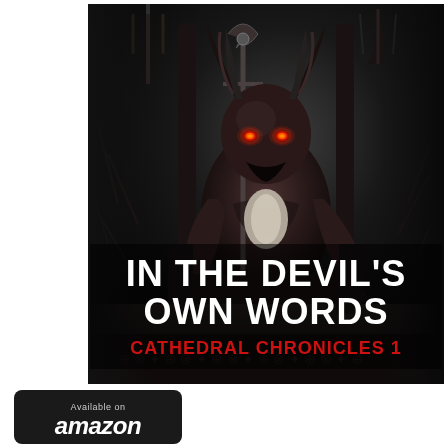[Figure (illustration): Book cover for 'In The Devil's Own Words – Cathedral Chronicles 1'. Dark gothic fantasy art showing a horned demon/devil figure seated on a throne, holding a staff/scepter, with glowing red eyes, surrounded by dark spikes and gothic architecture. Bold white title text 'IN THE DEVIL'S OWN WORDS' and red subtitle 'CATHEDRAL CHRONICLES 1' overlaid at the bottom of the image.]
[Figure (logo): Amazon 'Available on amazon' badge — black rounded rectangle with 'Available on' in small grey text and 'amazon' in white italic bold text below.]